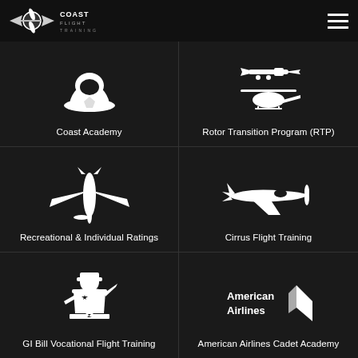CoastFlight Training
[Figure (illustration): Coast Academy icon - pilot hat/cap silhouette white on dark]
Coast Academy
[Figure (illustration): Rotor Transition Program icon - airplane and helicopter silhouettes white on dark]
Rotor Transition Program (RTP)
[Figure (illustration): Recreational & Individual Ratings icon - small propeller airplane top-down silhouette white]
Recreational & Individual Ratings
[Figure (illustration): Cirrus Flight Training icon - small Cirrus plane side view silhouette white]
Cirrus Flight Training
[Figure (illustration): GI Bill Vocational Flight Training icon - military pilot saluting silhouette white]
GI Bill Vocational Flight Training
[Figure (logo): American Airlines logo - wordmark with American Airlines and tail fin logo in white]
American Airlines Cadet Academy